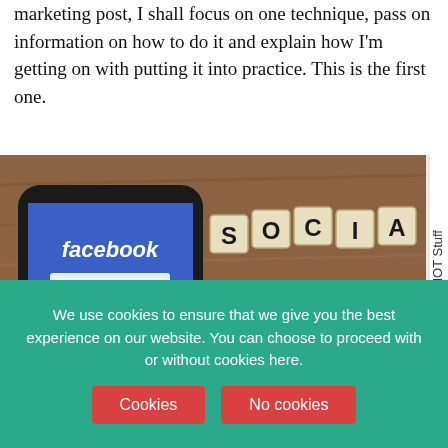marketing post, I shall focus on one technique, pass on information on how to do it and explain how I'm getting on with putting it into practice. This is the first one.
[Figure (photo): A smartphone displaying the Facebook login screen lies on a wooden surface next to Scrabble tiles spelling out 'SOCIAL MEDIA'. A vertical label on the right edge reads 'More HOT Stuff'.]
We use cookies to ensure that we give you the best experience on our website. You can choose to proceed with or without cookies here.